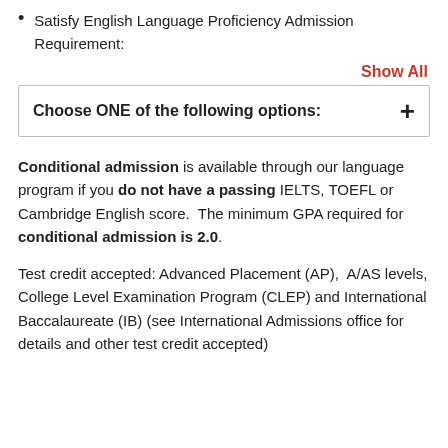Satisfy English Language Proficiency Admission Requirement:
Show All
Choose ONE of the following options:  +
Conditional admission is available through our language program if you do not have a passing IELTS, TOEFL or Cambridge English score.  The minimum GPA required for conditional admission is 2.0.
Test credit accepted: Advanced Placement (AP),  A/AS levels, College Level Examination Program (CLEP) and International Baccalaureate (IB) (see International Admissions office for details and other test credit accepted)